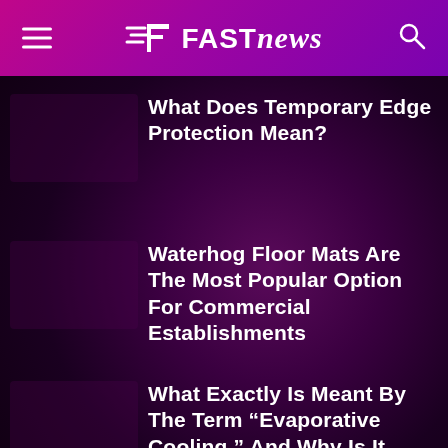FAST news
What Does Temporary Edge Protection Mean?
Waterhog Floor Mats Are The Most Popular Option For Commercial Establishments
What Exactly Is Meant By The Term “Evaporative Cooling,” And Why Is It Beneficial?